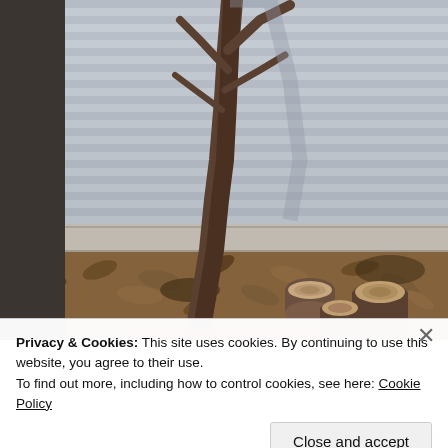[Figure (photo): Outdoor photo showing a bare tree trunk and branches in the foreground, cut log stumps arranged near the base, and dry fallen leaves covering the ground. A white wooden siding wall/fence is visible in the background.]
Privacy & Cookies: This site uses cookies. By continuing to use this website, you agree to their use.
To find out more, including how to control cookies, see here: Cookie Policy
Close and accept